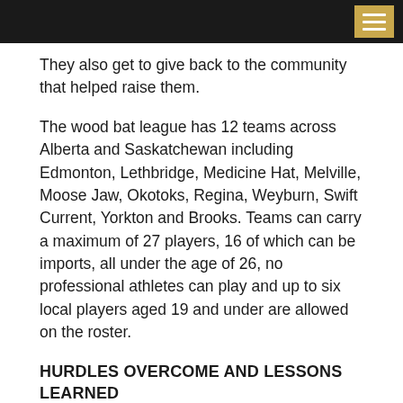[navigation bar with menu button]
They also get to give back to the community that helped raise them.
The wood bat league has 12 teams across Alberta and Saskatchewan including Edmonton, Lethbridge, Medicine Hat, Melville, Moose Jaw, Okotoks, Regina, Weyburn, Swift Current, Yorkton and Brooks. Teams can carry a maximum of 27 players, 16 of which can be imports, all under the age of 26, no professional athletes can play and up to six local players aged 19 and under are allowed on the roster.
HURDLES OVERCOME AND LESSONS LEARNED IN YEAR ONE